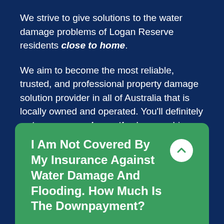We strive to give solutions to the water damage problems of Logan Reserve residents close to home.
We aim to become the most reliable, trusted, and professional property damage solution provider in all of Australia that is locally owned and operated. You'll definitely get your money's worth when you hire a dedicated servicer like us for any of your water restoration needs.
I Am Not Covered By My Insurance Against Water Damage And Flooding. How Much Is The Downpayment?